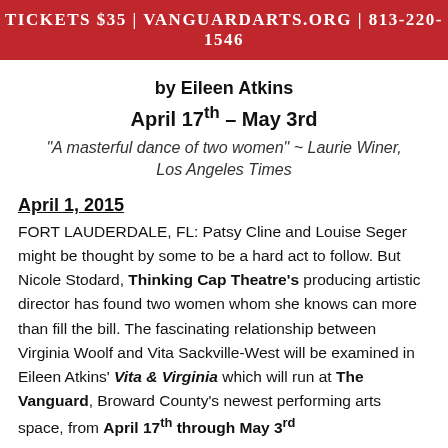TICKETS $35 | VANGUARDARTS.ORG | 813-220-1546
by Eileen Atkins
April 17th – May 3rd
"A masterful dance of two women" ~ Laurie Winer, Los Angeles Times
April 1, 2015
FORT LAUDERDALE, FL: Patsy Cline and Louise Seger might be thought by some to be a hard act to follow. But Nicole Stodard, Thinking Cap Theatre's producing artistic director has found two women whom she knows can more than fill the bill. The fascinating relationship between Virginia Woolf and Vita Sackville-West will be examined in Eileen Atkins' Vita & Virginia which will run at The Vanguard, Broward County's newest performing arts space, from April 17th through May 3rd